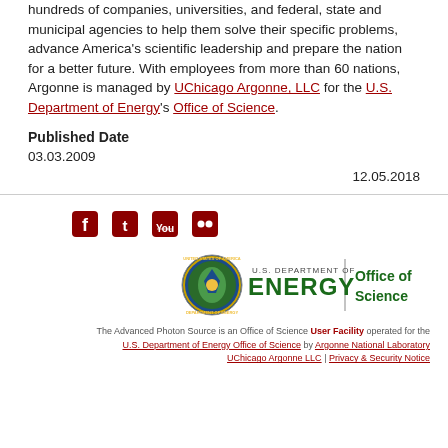hundreds of companies, universities, and federal, state and municipal agencies to help them solve their specific problems, advance America's scientific leadership and prepare the nation for a better future. With employees from more than 60 nations, Argonne is managed by UChicago Argonne, LLC for the U.S. Department of Energy's Office of Science.
Published Date
03.03.2009
12.05.2018
[Figure (logo): Social media icons: Facebook, Twitter, YouTube, Flickr]
[Figure (logo): U.S. Department of Energy Office of Science logo]
The Advanced Photon Source is an Office of Science User Facility operated for the U.S. Department of Energy Office of Science by Argonne National Laboratory UChicago Argonne LLC | Privacy & Security Notice